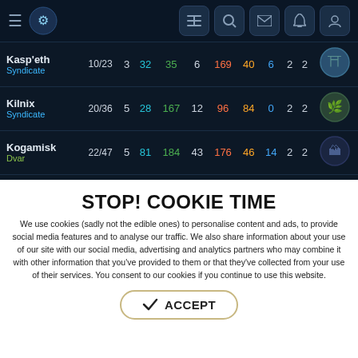Navigation bar with hamburger menu, logo, and icons
| Planet / Faction | Score | Col3 | Col4 | Col5 | Col6 | Col7 | Col8 | Col9 | Col10 | Col11 | Avatar |
| --- | --- | --- | --- | --- | --- | --- | --- | --- | --- | --- | --- |
| Kasp'eth / Syndicate | 10/23 | 3 | 32 | 35 | 6 | 169 | 40 | 6 | 2 | 2 |  |
| Kilnix / Syndicate | 20/36 | 5 | 28 | 167 | 12 | 96 | 84 | 0 | 2 | 2 |  |
| Kogamisk / Dvar | 22/47 | 5 | 81 | 184 | 43 | 176 | 46 | 14 | 2 | 2 |  |
| Kotinara ★ / Syndicate | 31/66 | 7 | 98 | 126 | 174 | 365 | 279 | 43 | 22 | - |  |
STOP! COOKIE TIME
We use cookies (sadly not the edible ones) to personalise content and ads, to provide social media features and to analyse our traffic. We also share information about your use of our site with our social media, advertising and analytics partners who may combine it with other information that you've provided to them or that they've collected from your use of their services. You consent to our cookies if you continue to use this website.
✓ ACCEPT